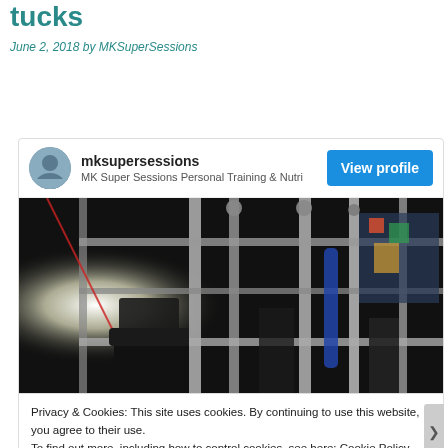tucks
June 2, 2018 by MKSuperSessions
[Figure (screenshot): Embedded social media card from mksupersessions showing a gym/fitness equipment photo with a 'View profile' button. Username: mksupersessions, subtitle: MK Super Sessions Personal Training & Nutri]
Privacy & Cookies: This site uses cookies. By continuing to use this website, you agree to their use.
To find out more, including how to control cookies, see here: Cookie Policy
Close and accept